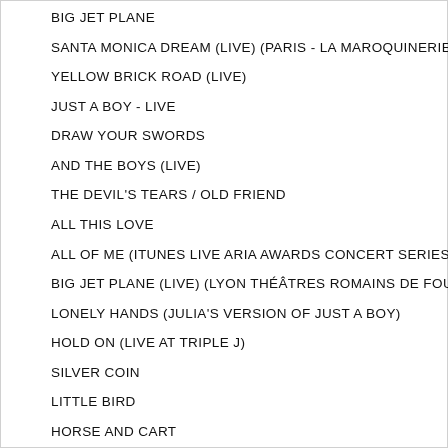BIG JET PLANE
SANTA MONICA DREAM (LIVE) (PARIS - LA MAROQUINERIE)
YELLOW BRICK ROAD (LIVE)
JUST A BOY - LIVE
DRAW YOUR SWORDS
AND THE BOYS (LIVE)
THE DEVIL'S TEARS / OLD FRIEND
ALL THIS LOVE
ALL OF ME (ITUNES LIVE ARIA AWARDS CONCERT SERIES 2010)
BIG JET PLANE (LIVE) (LYON THÉÂTRES ROMAINS DE FOURVIERE)
LONELY HANDS (JULIA'S VERSION OF JUST A BOY)
HOLD ON (LIVE AT TRIPLE J)
SILVER COIN
LITTLE BIRD
HORSE AND CART
PRIVATE LAWNS - LIVE '09
FOR YOU - RADIO EDIT